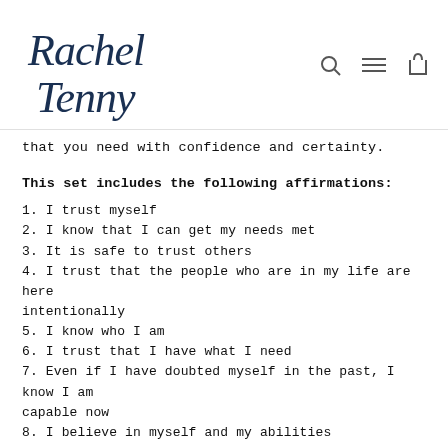Rachel Tenny
that you need with confidence and certainty.
This set includes the following affirmations:
1. I trust myself
2. I know that I can get my needs met
3. It is safe to trust others
4. I trust that the people who are in my life are here intentionally
5. I know who I am
6. I trust that I have what I need
7. Even if I have doubted myself in the past, I know I am capable now
8. I believe in myself and my abilities